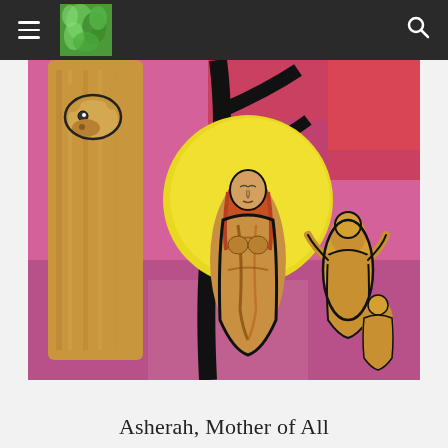Navigation header with hamburger menu, logo, and search icon
[Figure (illustration): A colorful painting depicting Asherah, Mother of All. Central figure is a female deity with flowing hair and a golden body, set against a large yellow circle/halo. To the left is a wooden carved animal figure (deer/donkey). To the right are smaller golden figurines. Background features vibrant pink, red, green brush strokes in an expressive art style.]
Asherah, Mother of All